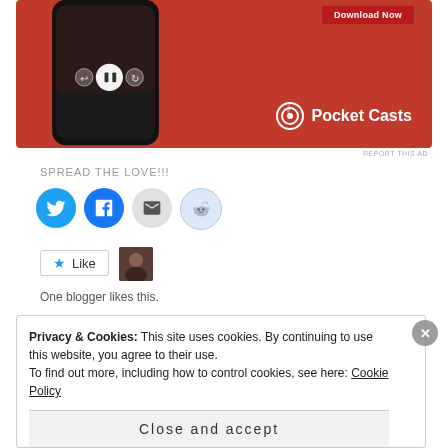[Figure (screenshot): Pocket Casts app advertisement showing a smartphone with the app open on a red background, with 'Download Now' button and Pocket Casts logo]
REPORT THIS AD
SPREAD THE LOVE!!!
[Figure (infographic): Social sharing icons: Twitter (blue bird), Facebook (blue f), Email (grey envelope), Reddit (light blue alien)]
[Figure (infographic): Like button with star icon and blogger avatar thumbnail]
One blogger likes this.
Privacy & Cookies: This site uses cookies. By continuing to use this website, you agree to their use.
To find out more, including how to control cookies, see here: Cookie Policy
Close and accept